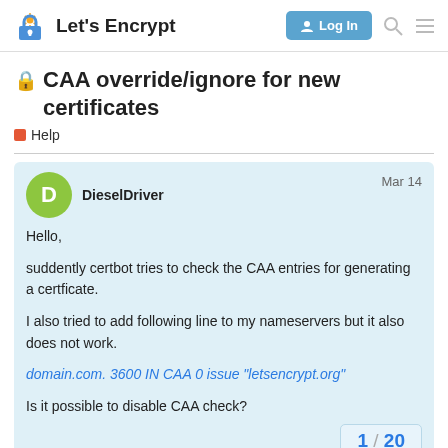Let's Encrypt — Log In
🔒 CAA override/ignore for new certificates
Help
DieselDriver  Mar 14
Hello,

suddently certbot tries to check the CAA entries for generating a certficate.

I also tried to add following line to my nameservers but it also does not work.
domain.com. 3600 IN CAA 0 issue "letsencrypt.org"

Is it possible to disable CAA check?
1 / 20